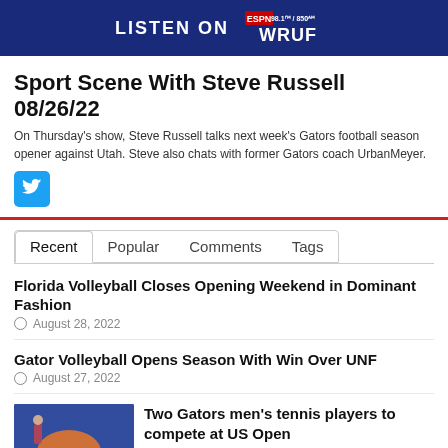[Figure (logo): LISTEN ON ESPN Radio WRUF 98.1FM / 850AM banner in dark blue]
Sport Scene With Steve Russell 08/26/22
On Thursday's show, Steve Russell talks next week's Gators football season opener against Utah. Steve also chats with former Gators coach UrbanMeyer.
[Figure (logo): Twitter/X bird icon button in blue]
Recent
Popular
Comments
Tags
Florida Volleyball Closes Opening Weekend in Dominant Fashion
August 28, 2022
Gator Volleyball Opens Season With Win Over UNF
August 27, 2022
[Figure (photo): Florida Gators tennis player on court with Gators logo backdrop]
Two Gators men's tennis players to compete at US Open
August 26, 2022
[Figure (photo): Football player in uniform]
Getting to Know the Top PAC-12 Teams in 2022